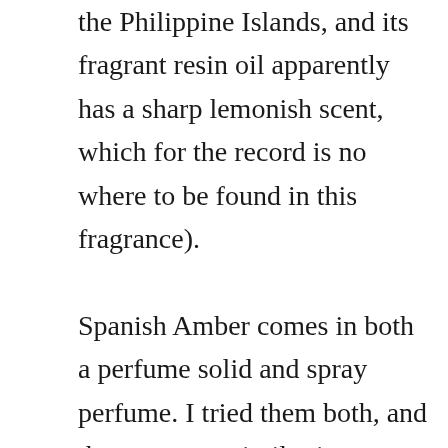the Philippine Islands, and its fragrant resin oil apparently has a sharp lemonish scent, which for the record is no where to be found in this fragrance). Spanish Amber comes in both a perfume solid and spray perfume. I tried them both, and they are very similar in scent and their excellent lasting power. The base of the solid perfume is organic coconut wax, organic soy wax, and non-GMO hydrogenated soy wax. Applying the solid perfume was very sensual. It warmed easily and absorbed well. The fragrance itself is definitely for amber lovers. But fair warning to the amber connoisseur, I would not call this complex or sophisticated. It's a lovely, soft,